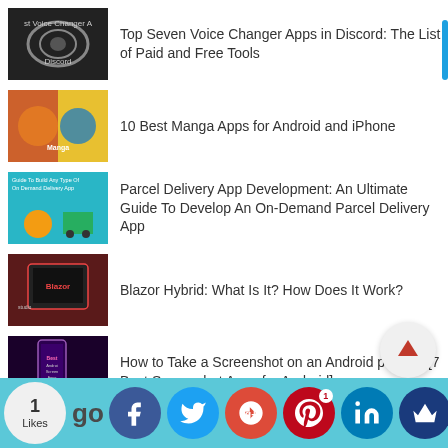Top Seven Voice Changer Apps in Discord: The List of Paid and Free Tools
10 Best Manga Apps for Android and iPhone
Parcel Delivery App Development: An Ultimate Guide To Develop An On-Demand Parcel Delivery App
Blazor Hybrid: What Is It? How Does It Work?
How to Take a Screenshot on an Android phone? [7 Best Screenshot Apps for Android]